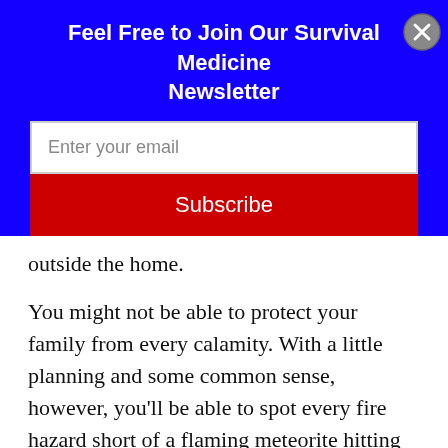Feel Free to Join Our Survival Medicine Newsletter
[Figure (other): Email subscription form with white input field labeled 'Enter your email' and a red Subscribe button, on a blue background. A grey circle X close button appears at top right.]
outside the home.
You might not be able to protect your family from every calamity. With a little planning and some common sense, however, you'll be able to spot every fire hazard short of a flaming meteorite hitting your home. Find those hazards and eliminate them and your home will become a whole lot safer.
Joe Alton, MD